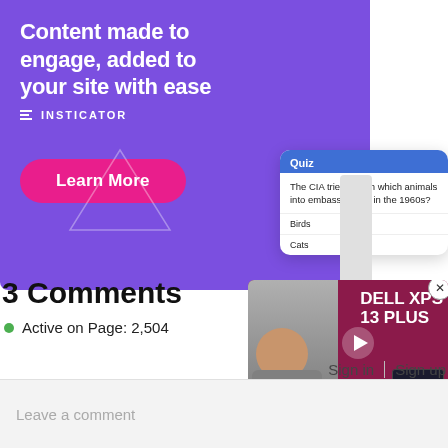[Figure (screenshot): Insticator advertisement banner with purple background, headline 'Content made to engage, added to your site with ease', Insticator logo, 'Learn More' button in pink, decorative triangle, and a quiz card showing 'The CIA tried to turn which animals into embassy spies in the 1960s?' with options Birds and Cats]
[Figure (screenshot): Video popup for 'Dell XPS 13 Plus' review from Digital Trends, showing a surprised man and large text 'DELL XPS 13 PLUS' with a play button, and a close (X) button]
3 Comments
Active on Page: 2,504
Sign in | Sign up
Leave a comment